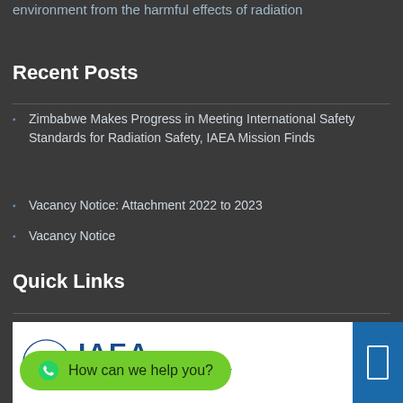environment from the harmful effects of radiation
Recent Posts
Zimbabwe Makes Progress in Meeting International Safety Standards for Radiation Safety, IAEA Mission Finds
Vacancy Notice: Attachment 2022 to 2023
Vacancy Notice
Quick Links
[Figure (logo): IAEA logo with text: International Atomic Energy Agency, Atoms for Peace and Development]
How can we help you?